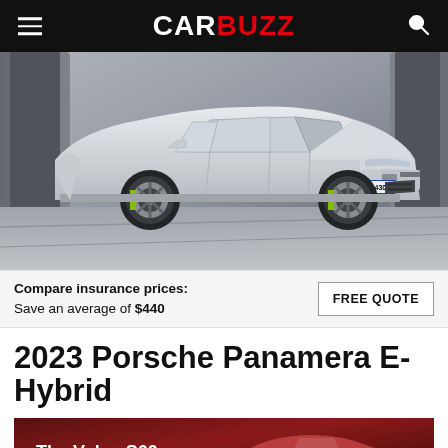CARBUZZ
[Figure (photo): White Porsche Panamera E-Hybrid luxury sedan photographed in a dramatic architectural setting with license plate S-PA 430E, showing the full side profile with green brake calipers]
Compare insurance prices: Save an average of $440
FREE QUOTE
2023 Porsche Panamera E-Hybrid
[Figure (photo): Volvo S60 advertisement banner in dark red/maroon background showing the text 'The Volvo S60' with a red Volvo S60 car silhouette and the Volvo logo]